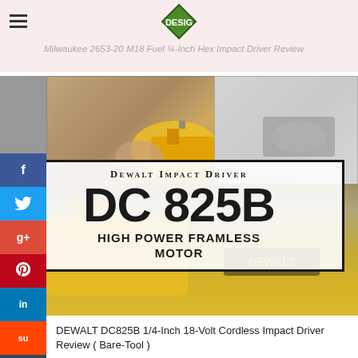Milwaukee 2653-20 M18 Fuel 1/4-Inch Hex Impact Driver Review
[Figure (photo): DEWALT impact driver product promotional image with tool model DC 825B shown in white overlay box with text 'Dewalt Impact Driver DC 825B High Power Framless Motor' over photo collage of power tools being used]
DEWALT DC825B 1/4-Inch 18-Volt Cordless Impact Driver Review ( Bare-Tool )